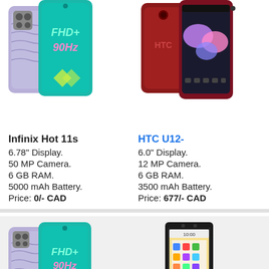[Figure (photo): Infinix Hot 11s smartphone front and back view with teal FHD+ 90Hz display]
Infinix Hot 11s
6.78" Display.
50 MP Camera.
6 GB RAM.
5000 mAh Battery.
Price: 0/- CAD
[Figure (photo): HTC U12- smartphone front and back view in red/crimson color]
HTC U12-
6.0" Display.
12 MP Camera.
6 GB RAM.
3500 mAh Battery.
Price: 677/- CAD
[Figure (photo): Infinix Hot 11s smartphone front and back view with teal FHD+ 90Hz display]
Infinix Hot 11s
6.78" Display.
[Figure (photo): BlackBerry Evolve X smartphone front view]
BlackBerry Evolve X
5.99" Display.